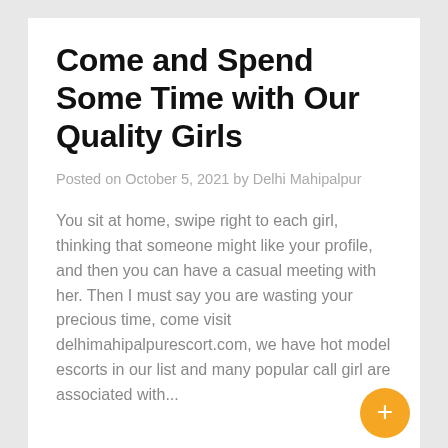Come and Spend Some Time with Our Quality Girls
Posted on October 5, 2021 by Delhi Mahipalpur
You sit at home, swipe right to each girl, thinking that someone might like your profile, and then you can have a casual meeting with her. Then I must say you are wasting your precious time, come visit delhimahipalpurescort.com, we have hot model escorts in our list and many popular call girl are associated with...